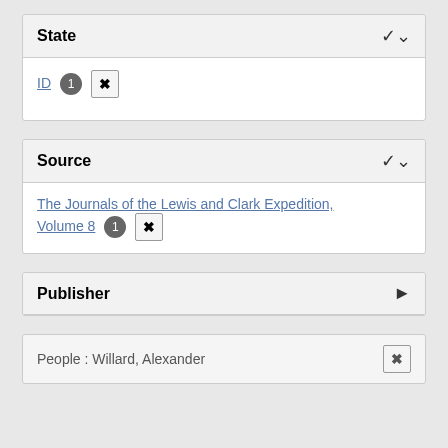State
ID 1 ×
Source
The Journals of the Lewis and Clark Expedition, Volume 8 1 ×
Publisher
People : Willard, Alexander ×